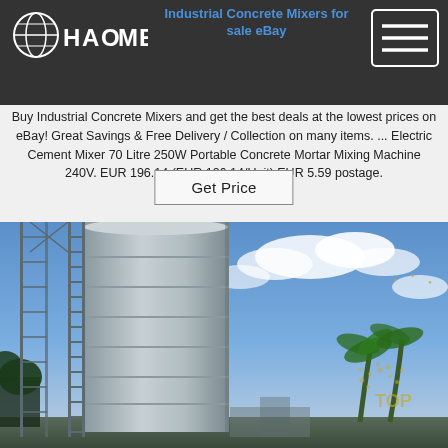HAOMEI [logo]
Industrial Concrete Mixers for sale eBay
Buy Industrial Concrete Mixers and get the best deals at the lowest prices on eBay! Great Savings & Free Delivery / Collection on many items. ... Electric Cement Mixer 70 Litre 250W Portable Concrete Mortar Mixing Machine 240V. EUR 196.14 (EUR 196.14/Unit) EUR 5.59 postage.
Get Price
[Figure (photo): Tall cylindrical industrial concrete silo/mixer tower with metal ladder scaffolding on the left side, set against a partly cloudy blue sky with palm trees in the background. A 'TOP' watermark is visible in the lower right area of the photo.]